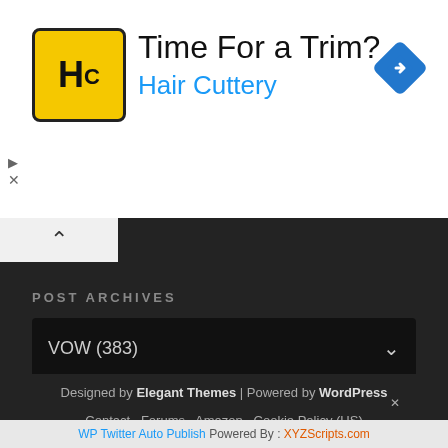[Figure (infographic): Advertisement banner: Hair Cuttery ad with yellow HC logo, headline 'Time For a Trim?' and brand name 'Hair Cuttery' in blue, blue diamond navigation icon on right, small play and X controls on left]
[Figure (screenshot): Dark website UI section with collapse/caret button, POST ARCHIVES section header, and a dropdown showing 'VOW (383)' with chevron]
Designed by Elegant Themes | Powered by WordPress
Contact   Forums   Amazon   Cookie Policy (US)
WP Twitter Auto Publish Powered By : XYZScripts.com